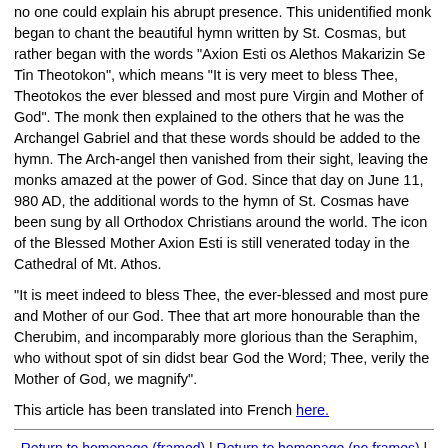no one could explain his abrupt presence. This unidentified monk began to chant the beautiful hymn written by St. Cosmas, but rather began with the words "Axion Esti os Alethos Makarizin Se Tin Theotokon", which means "It is very meet to bless Thee, Theotokos the ever blessed and most pure Virgin and Mother of God". The monk then explained to the others that he was the Archangel Gabriel and that these words should be added to the hymn. The Arch-angel then vanished from their sight, leaving the monks amazed at the power of God. Since that day on June 11, 980 AD, the additional words to the hymn of St. Cosmas have been sung by all Orthodox Christians around the world. The icon of the Blessed Mother Axion Esti is still venerated today in the Cathedral of Mt. Athos.
"It is meet indeed to bless Thee, the ever-blessed and most pure and Mother of our God. Thee that art more honourable than the Cherubim, and incomparably more glorious than the Seraphim, who without spot of sin didst bear God the Word; Thee, verily the Mother of God, we magnify".
This article has been translated into French here.
Return to homepage (framed) | Return to homepage (no frames) | Return to home page